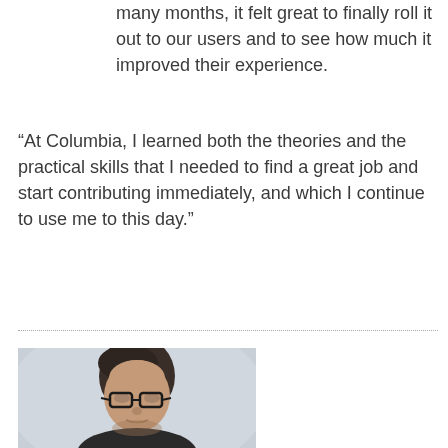many months, it felt great to finally roll it out to our users and to see how much it improved their experience.
“At Columbia, I learned both the theories and the practical skills that I needed to find a great job and start contributing immediately, and which I continue to use me to this day.”
[Figure (photo): Headshot photo of a man with dark hair and glasses, facing slightly downward, against a light background]